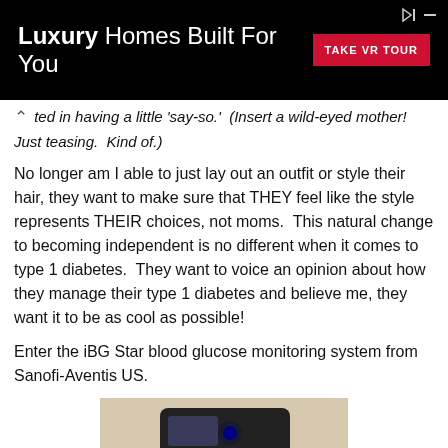[Figure (other): Advertisement banner: black background with text 'Luxury Homes Built For You' and a red 'TAKE VR TOUR' button]
ted in having a little 'say-so.' (Insert a wild-eyed mother! Just teasing. Kind of.)
No longer am I able to just lay out an outfit or style their hair, they want to make sure that THEY feel like the style represents THEIR choices, not moms. This natural change to becoming independent is no different when it comes to type 1 diabetes. They want to voice an opinion about how they manage their type 1 diabetes and believe me, they want it to be as cool as possible!
Enter the iBG Star blood glucose monitoring system from Sanofi-Aventis US.
[Figure (photo): Photo of a blood glucose monitoring device (iBG Star) being held by a hand, on a beige/tan background]